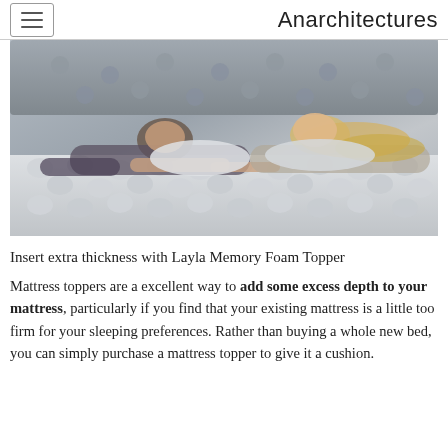Anarchitectures
[Figure (photo): Two people lying on a mattress with pillows, smiling at each other. The mattress has a white quilted topper with a bubble/honeycomb texture.]
Insert extra thickness with Layla Memory Foam Topper
Mattress toppers are a excellent way to add some excess depth to your mattress, particularly if you find that your existing mattress is a little too firm for your sleeping preferences. Rather than buying a whole new bed, you can simply purchase a mattress topper to give it a cushion.